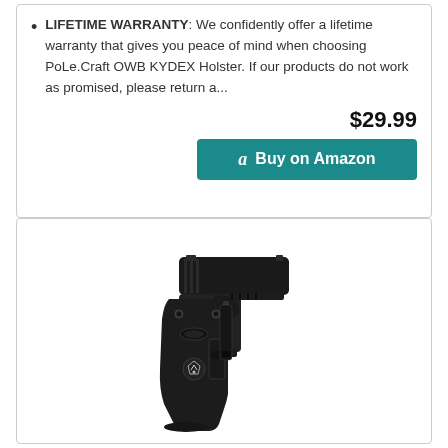LIFETIME WARRANTY: We confidently offer a lifetime warranty that gives you peace of mind when choosing PoLe.Craft OWB KYDEX Holster. If our products do not work as promised, please return a...
$29.99
[Figure (screenshot): Teal 'Buy on Amazon' button with Amazon logo 'a' icon]
[Figure (photo): Black KYDEX IWB gun holster with a pistol inserted, shown on white background. The holster has the PoLe.Craft brand logo on it.]